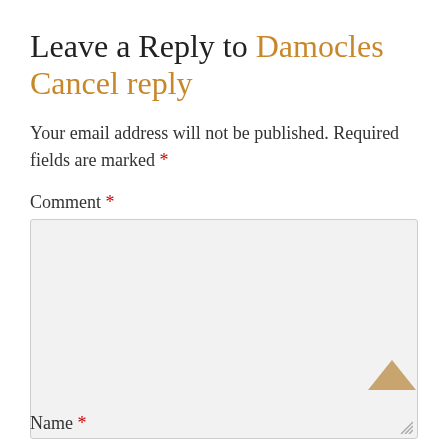Leave a Reply to Damocles   Cancel reply
Your email address will not be published. Required fields are marked *
Comment *
[Figure (other): Large empty comment text area input box with resize handle]
[Figure (other): Upward chevron arrow icon for scrolling to top]
Name *